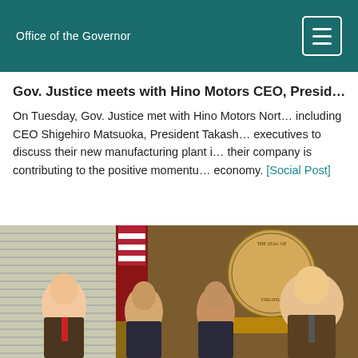Office of the Governor
Gov. Justice meets with Hino Motors CEO, Presid…
On Tuesday, Gov. Justice met with Hino Motors North… including CEO Shigehiro Matsuoka, President Takash… executives to discuss their new manufacturing plant i… their company is contributing to the positive momentu… economy. [Social Post]
[Figure (photo): Group photo of four men standing in front of the West Virginia state seal and an American flag in what appears to be the Governor's office.]